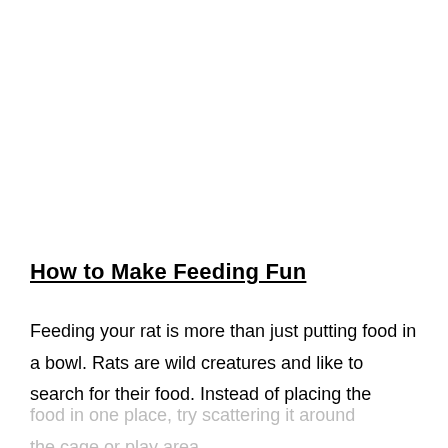How to Make Feeding Fun
Feeding your rat is more than just putting food in a bowl. Rats are wild creatures and like to search for their food. Instead of placing the food in one place, try scattering it around the cage or play area.